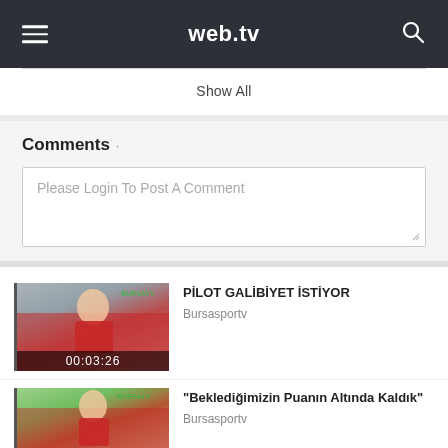web.tv
Show All
Comments
Please Login To Post A Comment
[Figure (photo): Video thumbnail of a man in red jersey, sports setting, with duration 00:03:26 overlaid]
PİLOT GALİBİYET İSTİYOR
Bursasportv
[Figure (photo): Video thumbnail of sports scene]
"Beklediğimizin Puanın Altında Kaldık"
Bursasportv